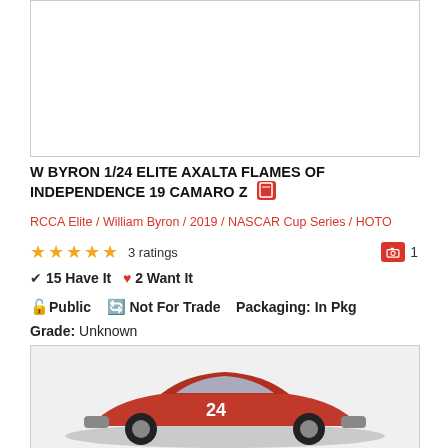[Figure (photo): Top white image box, likely product photo area, appears blank/white]
W BYRON 1/24 ELITE AXALTA FLAMES OF INDEPENDENCE 19 CAMARO Z
RCCA Elite / William Byron / 2019 / NASCAR Cup Series / HOTO
★★★★★ 3 ratings   📷 1
✔ 15 Have It  ♥ 2 Want It
🔓 Public   🔄 Not For Trade   Packaging: In Pkg
Grade: Unknown
[Figure (photo): Red and black NASCAR die-cast car model photo, partially visible at bottom of page]